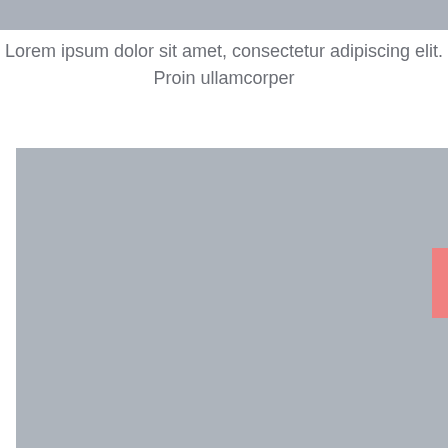[Figure (other): Gray rectangular banner/image placeholder at top of page]
Lorem ipsum dolor sit amet, consectetur adipiscing elit. Proin ullamcorper
[Figure (photo): Large gray rectangular image placeholder occupying the lower portion of the page, with a salmon/coral pink rectangle partially visible on the right edge]